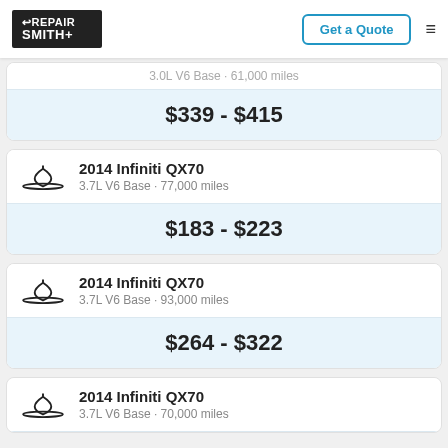RepairSmith | Get a Quote
3.0L V6 Base · 61,000 miles
$339 - $415
2014 Infiniti QX70 | 3.7L V6 Base · 77,000 miles
$183 - $223
2014 Infiniti QX70 | 3.7L V6 Base · 93,000 miles
$264 - $322
2014 Infiniti QX70 | 3.7L V6 Base · 70,000 miles